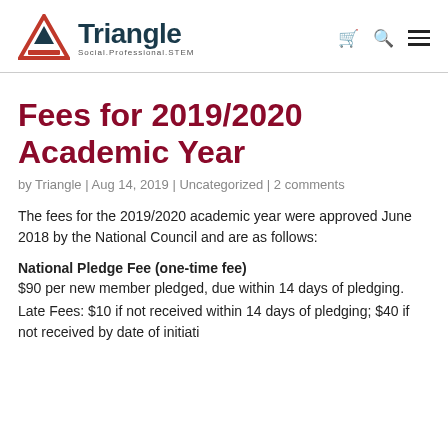Triangle — Social.Professional.STEM
Fees for 2019/2020 Academic Year
by Triangle | Aug 14, 2019 | Uncategorized | 2 comments
The fees for the 2019/2020 academic year were approved June 2018 by the National Council and are as follows:
National Pledge Fee (one-time fee)
$90 per new member pledged, due within 14 days of pledging.
Late Fees: $10 if not received within 14 days of pledging; $40 if not received by date of initiation.